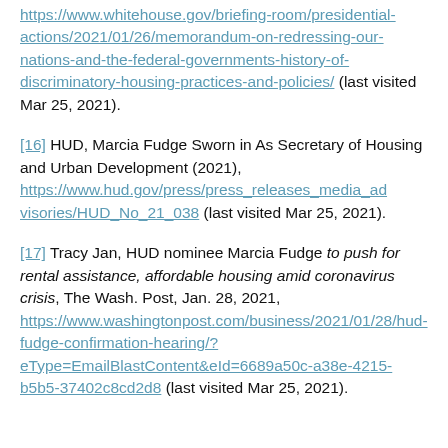https://www.whitehouse.gov/briefing-room/presidential-actions/2021/01/26/memorandum-on-redressing-our-nations-and-the-federal-governments-history-of-discriminatory-housing-practices-and-policies/ (last visited Mar 25, 2021).
[16] HUD, Marcia Fudge Sworn in As Secretary of Housing and Urban Development (2021), https://www.hud.gov/press/press_releases_media_advisories/HUD_No_21_038 (last visited Mar 25, 2021).
[17] Tracy Jan, HUD nominee Marcia Fudge to push for rental assistance, affordable housing amid coronavirus crisis, The Wash. Post, Jan. 28, 2021, https://www.washingtonpost.com/business/2021/01/28/hud-fudge-confirmation-hearing/?eType=EmailBlastContent&eId=6689a50c-a38e-4215-b5b5-37402c8cd2d8 (last visited Mar 25, 2021).